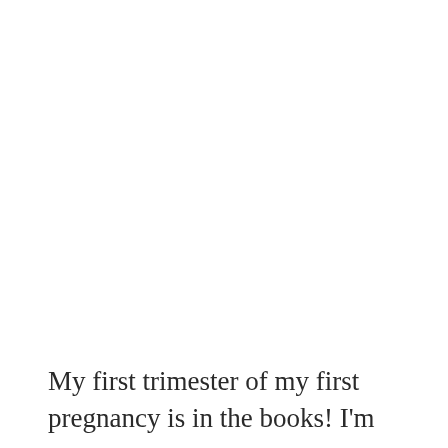My first trimester of my first pregnancy is in the books! I'm